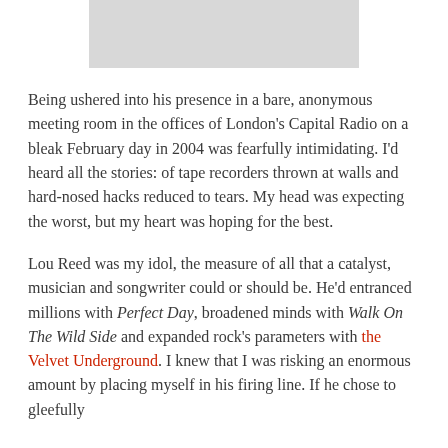[Figure (other): Gray rectangular image placeholder at the top of the page]
Being ushered into his presence in a bare, anonymous meeting room in the offices of London's Capital Radio on a bleak February day in 2004 was fearfully intimidating. I'd heard all the stories: of tape recorders thrown at walls and hard-nosed hacks reduced to tears. My head was expecting the worst, but my heart was hoping for the best.
Lou Reed was my idol, the measure of all that a catalyst, musician and songwriter could or should be. He'd entranced millions with Perfect Day, broadened minds with Walk On The Wild Side and expanded rock's parameters with the Velvet Underground. I knew that I was risking an enormous amount by placing myself in his firing line. If he chose to gleefully